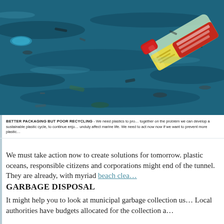[Figure (photo): Aerial or close-up photograph of ocean water covered with plastic waste and garbage, including a prominent plastic bottle with red and yellow label floating among debris on the water surface.]
BETTER PACKAGING BUT POOR RECYCLING - We need plastics to pro… together on the problem we can develop a sustainable plastic cycle, to continue enjo… unduly affect marine life. We need to act now now if we want to prevent more plastic…
We must take action now to create solutions for tomorrow. plastic oceans, responsible citizens and corporations might end of the tunnel. They are already, with myriad beach clea…
GARBAGE DISPOSAL
It might help you to look at municipal garbage collection us… Local authorities have budgets allocated for the collection a…